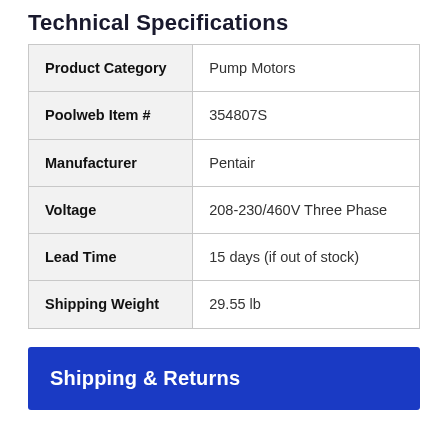Technical Specifications
| Property | Value |
| --- | --- |
| Product Category | Pump Motors |
| Poolweb Item # | 354807S |
| Manufacturer | Pentair |
| Voltage | 208-230/460V Three Phase |
| Lead Time | 15 days (if out of stock) |
| Shipping Weight | 29.55 lb |
Shipping & Returns